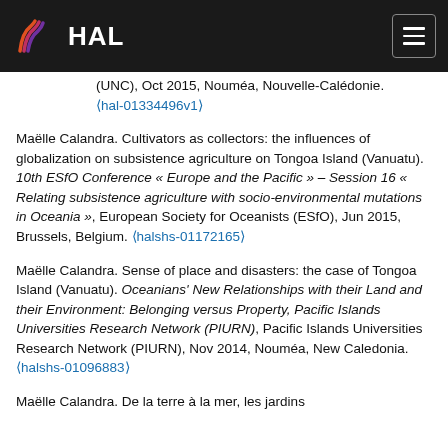HAL
(UNC), Oct 2015, Nouméa, Nouvelle-Calédonie. ⟨hal-01334496v1⟩
Maëlle Calandra. Cultivators as collectors: the influences of globalization on subsistence agriculture on Tongoa Island (Vanuatu). 10th ESfO Conference « Europe and the Pacific » – Session 16 « Relating subsistence agriculture with socio-environmental mutations in Oceania », European Society for Oceanists (ESfO), Jun 2015, Brussels, Belgium. ⟨halshs-01172165⟩
Maëlle Calandra. Sense of place and disasters: the case of Tongoa Island (Vanuatu). Oceanians' New Relationships with their Land and their Environment: Belonging versus Property, Pacific Islands Universities Research Network (PIURN), Pacific Islands Universities Research Network (PIURN), Nov 2014, Nouméa, New Caledonia. ⟨halshs-01096883⟩
Maëlle Calandra. De la terre à la mer, les jardins